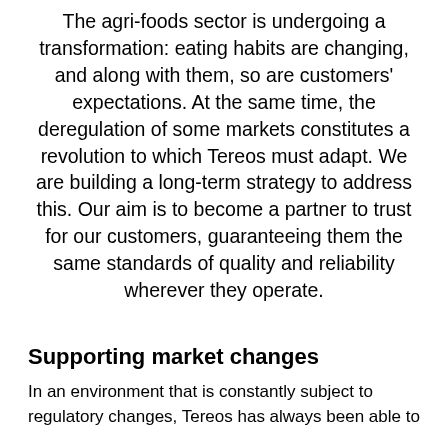The agri-foods sector is undergoing a transformation: eating habits are changing, and along with them, so are customers' expectations. At the same time, the deregulation of some markets constitutes a revolution to which Tereos must adapt. We are building a long-term strategy to address this. Our aim is to become a partner to trust for our customers, guaranteeing them the same standards of quality and reliability wherever they operate.
Supporting market changes
In an environment that is constantly subject to regulatory changes, Tereos has always been able to